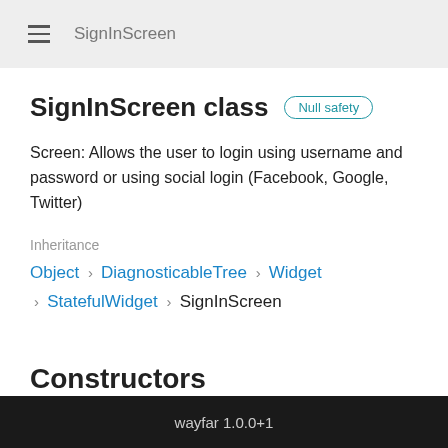SignInScreen
SignInScreen class Null safety
Screen: Allows the user to login using username and password or using social login (Facebook, Google, Twitter)
Inheritance
Object › DiagnosticableTree › Widget › StatefulWidget › SignInScreen
Constructors
wayfar 1.0.0+1